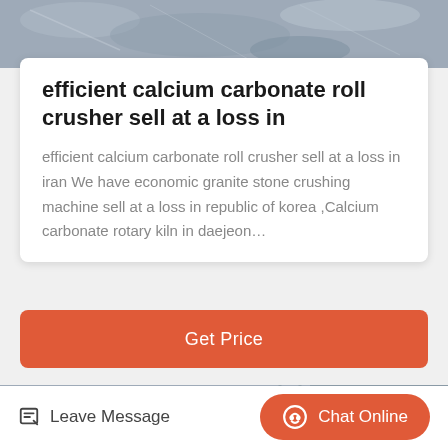[Figure (photo): Close-up of a grey stone or rock surface, shown at the top of the page]
efficient calcium carbonate roll crusher sell at a loss in
efficient calcium carbonate roll crusher sell at a loss in iran We have economic granite stone crushing machine sell at a loss in republic of korea ,Calcium carbonate rotary kiln in daejeon…
Get Price
[Figure (photo): Industrial photo showing a large tan/beige conical crushing machine in front of a grey metal warehouse building with blue signage banners in Chinese characters. A red sign with Chinese text is visible on the right.]
Leave Message
Chat Online